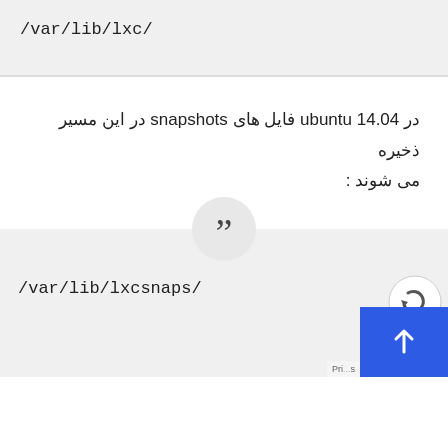/var/lib/lxc/
در ubuntu 14.04 فایل های snapshots در این مسیر ذخیره می شوند :
/var/lib/lxcsnaps/